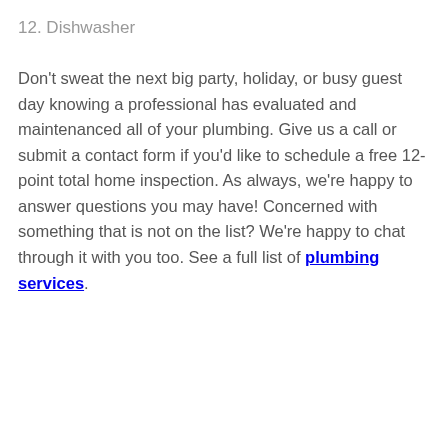12. Dishwasher
Don't sweat the next big party, holiday, or busy guest day knowing a professional has evaluated and maintenanced all of your plumbing. Give us a call or submit a contact form if you'd like to schedule a free 12-point total home inspection. As always, we're happy to answer questions you may have! Concerned with something that is not on the list? We're happy to chat through it with you too. See a full list of plumbing services.